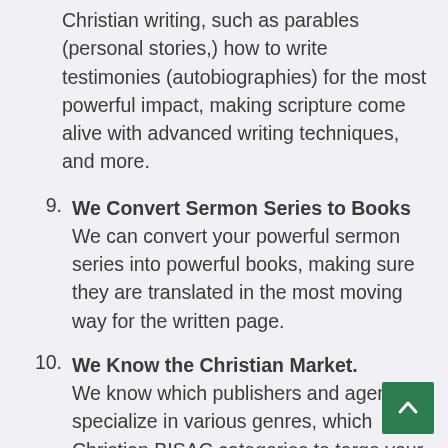Christian writing, such as parables (personal stories,) how to write testimonies (autobiographies) for the most powerful impact, making scripture come alive with advanced writing techniques, and more.
9. We Convert Sermon Series to Books — We can convert your powerful sermon series into powerful books, making sure they are translated in the most moving way for the written page.
10. We Know the Christian Market. We know which publishers and agents specialize in various genres, which Christian BISAC categories to targe your book towards, we know how to